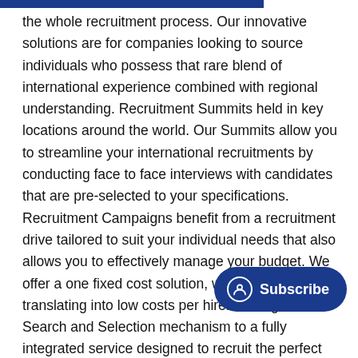the whole recruitment process. Our innovative solutions are for companies looking to source individuals who possess that rare blend of international experience combined with regional understanding. Recruitment Summits held in key locations around the world. Our Summits allow you to streamline your international recruitments by conducting face to face interviews with candidates that are pre-selected to your specifications. Recruitment Campaigns benefit from a recruitment drive tailored to suit your individual needs that also allows you to effectively manage your budget. We offer a one fixed cost solution, with no hiring fees, translating into low costs per hire. We regulate a Search and Selection mechanism to a fully integrated service designed to recruit the perfect individual(s) for your specific businesses regardless of seniority or... Talent Pool Resourcing is an innovat... provides you with a consistent pipeline to the best candidates available.